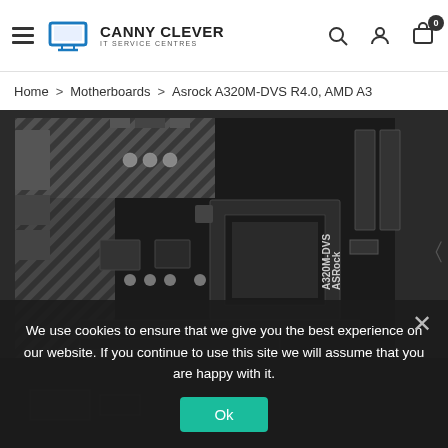Canny Clever IT Service Centres - Navigation header with logo, search, account, and cart icons
Home > Motherboards > Asrock A320M-DVS R4.0, AMD A3
[Figure (photo): ASRock A320M-DVS motherboard product photo showing a black PCB with white/grey diagonal stripe design, AMD AM4 CPU socket, memory slots, PCI slots, and various ports. The board label 'ASRock A320M-DVS' is visible on the right side.]
We use cookies to ensure that we give you the best experience on our website. If you continue to use this site we will assume that you are happy with it.